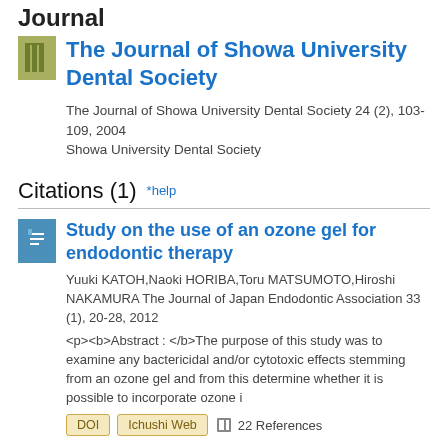Journal
The Journal of Showa University Dental Society
The Journal of Showa University Dental Society 24 (2), 103-109, 2004
Showa University Dental Society
Citations (1)  *help
Study on the use of an ozone gel for endodontic therapy
Yuuki KATOH,Naoki HORIBA,Toru MATSUMOTO,Hiroshi NAKAMURA The Journal of Japan Endodontic Association 33 (1), 20-28, 2012
<p><b>Abstract : </b>The purpose of this study was to examine any bactericidal and/or cytotoxic effects stemming from an ozone gel and from this determine whether it is possible to incorporate ozone i
DOI  Ichushi Web  22 References